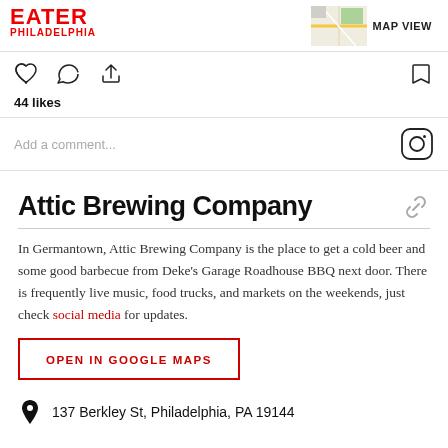EATER PHILADELPHIA | MAP VIEW
[Figure (screenshot): Social media interaction bar with heart, comment, share icons and bookmark icon; 44 likes text; Add a comment... field with Instagram icon]
Attic Brewing Company
In Germantown, Attic Brewing Company is the place to get a cold beer and some good barbecue from Deke's Garage Roadhouse BBQ next door. There is frequently live music, food trucks, and markets on the weekends, just check social media for updates.
OPEN IN GOOGLE MAPS
137 Berkley St, Philadelphia, PA 19144